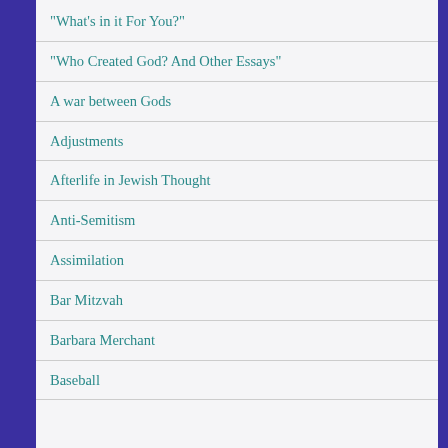"What's in it For You?"
"Who Created God? And Other Essays"
A war between Gods
Adjustments
Afterlife in Jewish Thought
Anti-Semitism
Assimilation
Bar Mitzvah
Barbara Merchant
Baseball